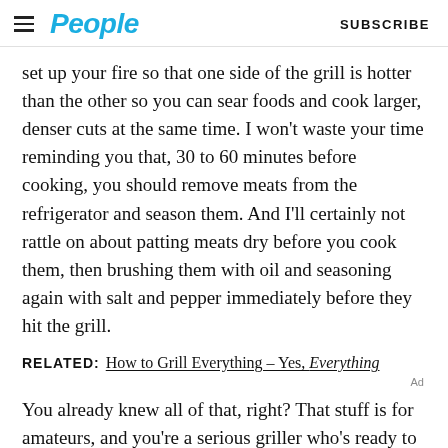People | SUBSCRIBE
set up your fire so that one side of the grill is hotter than the other so you can sear foods and cook larger, denser cuts at the same time. I won't waste your time reminding you that, 30 to 60 minutes before cooking, you should remove meats from the refrigerator and season them. And I'll certainly not rattle on about patting meats dry before you cook them, then brushing them with oil and seasoning again with salt and pepper immediately before they hit the grill.
RELATED:  How to Grill Everything – Yes, Everything
You already knew all of that, right? That stuff is for amateurs, and you're a serious griller who's ready to